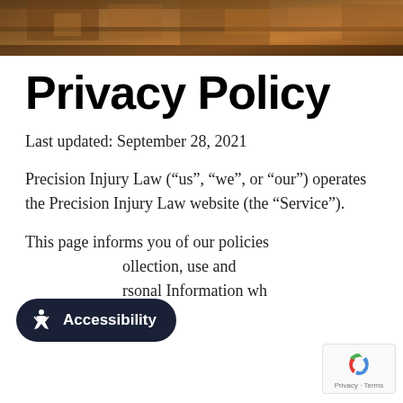[Figure (photo): Hero banner image showing rocky canyon cliff face with warm orange/brown tones at the top of the page]
Privacy Policy
Last updated: September 28, 2021
Precision Injury Law (“us”, “we”, or “our”) operates the Precision Injury Law website (the “Service”).
This page informs you of our policies regarding the collection, use and disclosure of Personal Information when you use our Service.